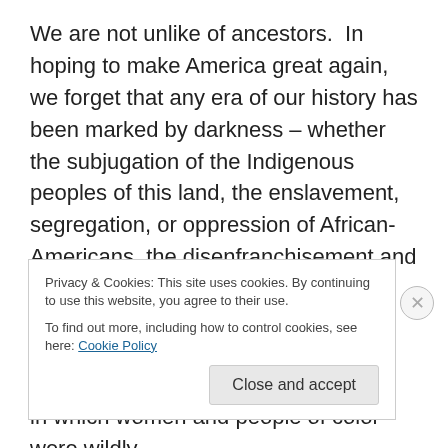We are not unlike of ancestors.  In hoping to make America great again, we forget that any era of our history has been marked by darkness – whether the subjugation of the Indigenous peoples of this land, the enslavement, segregation, or oppression of African-Americans, the disenfranchisement and sexual subjugation of women, and on and on go the examples.  When we look at our current inability to work across party lines, we forget the ways in which women and people of color were wildly
Privacy & Cookies: This site uses cookies. By continuing to use this website, you agree to their use.
To find out more, including how to control cookies, see here: Cookie Policy
Close and accept